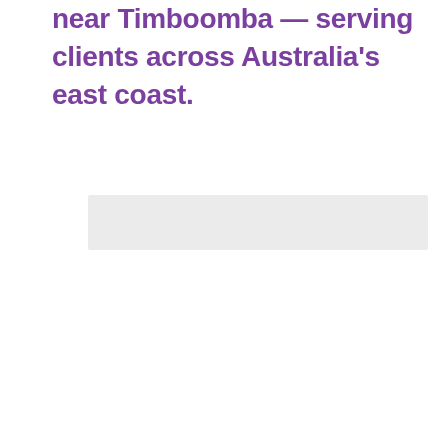near Timboomba — serving clients across Australia's east coast.
[Figure (other): A light gray horizontal bar/rectangle, possibly a placeholder image or decorative element]